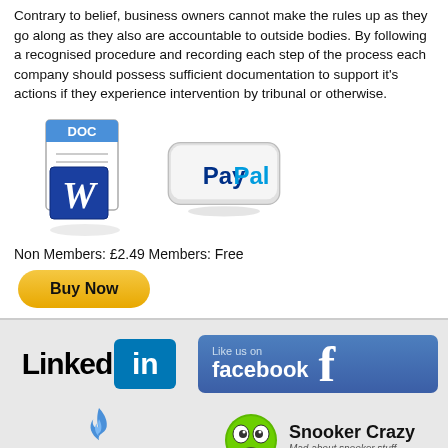Contrary to belief, business owners cannot make the rules up as they go along as they also are accountable to outside bodies. By following a recognised procedure and recording each step of the process each company should possess sufficient documentation to support it's actions if they experience intervention by tribunal or otherwise.
[Figure (illustration): Microsoft Word DOC icon and PayPal payment badge side by side]
Non Members: £2.49 Members: Free
[Figure (illustration): Buy Now button (yellow rounded rectangle)]
[Figure (logo): LinkedIn logo with black text and blue 'in' box]
[Figure (logo): Facebook 'Like us on facebook' button with blue background and white f]
[Figure (logo): Gas Support Services logo with blue flame icon and company name]
[Figure (logo): Snooker Crazy logo with green googly-eyes ball and text 'Mad about snooker stuff']